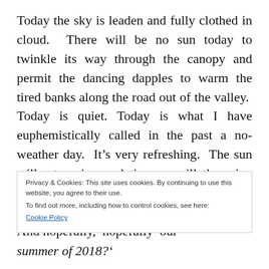Today the sky is leaden and fully clothed in cloud. There will be no sun today to twinkle its way through the canopy and permit the dancing dapples to warm the tired banks along the road out of the valley. Today is quiet. Today is what I have euphemistically called in the past a no-weather day. It's very refreshing. The sun will return in good time as will the rain. The banks will be shorn, we will wend our way through the second half of summer. And hopefully, hopefully our
Privacy & Cookies: This site uses cookies. By continuing to use this website, you agree to their use.
To find out more, including how to control cookies, see here:
Cookie Policy
Close and accept
summer of 2018?'